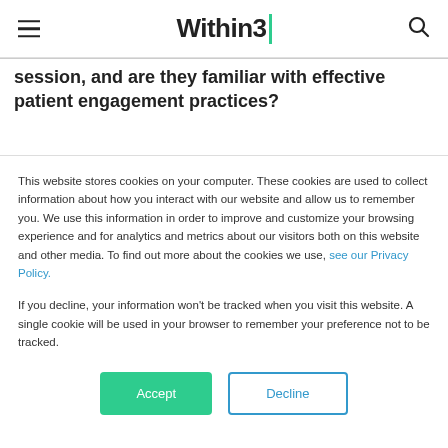Within3
session, and are they familiar with effective patient engagement practices?
This website stores cookies on your computer. These cookies are used to collect information about how you interact with our website and allow us to remember you. We use this information in order to improve and customize your browsing experience and for analytics and metrics about our visitors both on this website and other media. To find out more about the cookies we use, see our Privacy Policy.
If you decline, your information won't be tracked when you visit this website. A single cookie will be used in your browser to remember your preference not to be tracked.